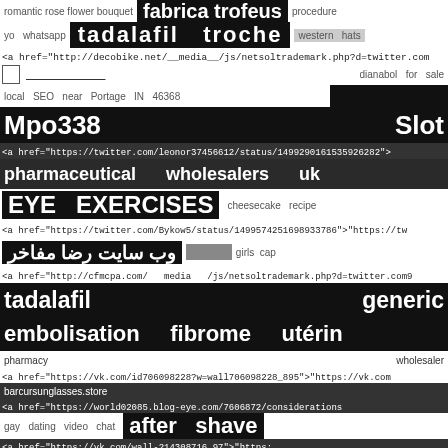romantic rose flower bouquet   fabrica trofeus   procedure
yo   whatsapp   tadalafil   troche   western   hats
<a href="http://decobike.net/__media__/js/netsoltrademark.php?d=twitter.com
[]   _______________   dianabol   for   sale
local   SEO   near   Portage   IN   46368   [blocks]
Mpo338   Slot
<a href="https://twitter.com/leonor37456612/status/1499290161535926282">
pharmaceutical   wholesalers   uk
EYE   EXERCISES   cheesecake   recipe
<a href="https://twitter.com/Bykow5/status/1499574251698933786">"https://tw
وب سایت رضا مفاخر   [blocks]   girls cap
<a href="http://cfmcpa.com/   media   /js/netsoltrademark.php?d=twitter.com9
tadalafil   generic
embolisation   fibrome   utérin
pharmacy   wholesaler
<a href="https://vk.com/id706098228?w=wall706098228_895">"https://vk.com
barcursunglasses.store
<a href="https://world02085.blog-eye.com/7606872/considerations
gay   dating   video   chat   after shave
<a href="https://vk.com/wall-214308716_97">"https:
local   SEO   near   Indian   Head   Park   [blocks]   432